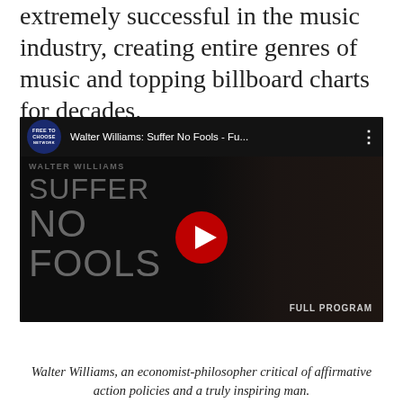extremely successful in the music industry, creating entire genres of music and topping billboard charts for decades.
[Figure (screenshot): YouTube video thumbnail for 'Walter Williams: Suffer No Fools - Fu...' showing the Free To Choose Network logo, dark video still with text overlay reading 'SUFFER NO FOOLS' and a red play button. Bottom right reads 'FULL PROGRAM'.]
Walter Williams, an economist-philosopher critical of affirmative action policies and a truly inspiring man.